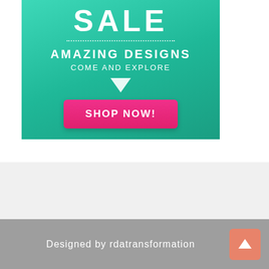[Figure (infographic): Promotional sale banner with teal/green gradient background showing SALE text, dotted line, AMAZING DESIGNS, COME AND EXPLORE, down arrow, and pink SHOP NOW button]
Designed by rdatransformation